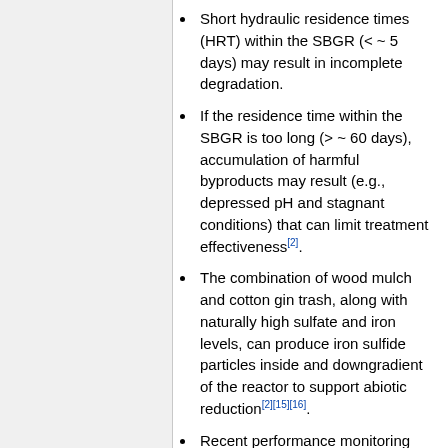Short hydraulic residence times (HRT) within the SBGR (< ~ 5 days) may result in incomplete degradation.
If the residence time within the SBGR is too long (> ~ 60 days), accumulation of harmful byproducts may result (e.g., depressed pH and stagnant conditions) that can limit treatment effectiveness[2].
The combination of wood mulch and cotton gin trash, along with naturally high sulfate and iron levels, can produce iron sulfide particles inside and downgradient of the reactor to support abiotic reduction[2][15][16].
Recent performance monitoring data suggest that abiotic enhancements can result in greater total molar CVOC concentration reductions and